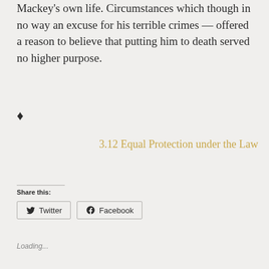Mackey's own life. Circumstances which though in no way an excuse for his terrible crimes — offered a reason to believe that putting him to death served no higher purpose.
♦
3.12 Equal Protection under the Law
Share this:
Twitter
Facebook
Loading...